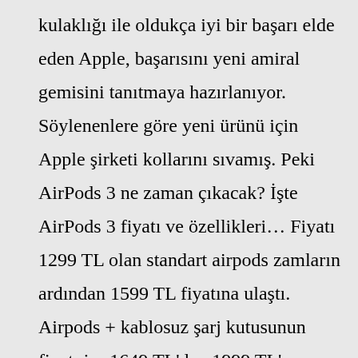kulaklığı ile oldukça iyi bir başarı elde eden Apple, başarısını yeni amiral gemisini tanıtmaya hazırlanıyor. Söylenenlere göre yeni ürünü için Apple şirketi kollarını sıvamış. Peki AirPods 3 ne zaman çıkacak? İşte AirPods 3 fiyatı ve özellikleri… Fiyatı 1299 TL olan standart airpods zamların ardından 1599 TL fiyatına ulaştı. Airpods + kablosuz şarj kutusunun fiyatı ise 1649 TL'den 1999 TL'ye ulaştı. En büyük fiyat